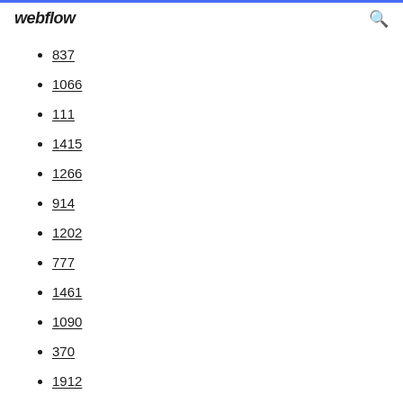webflow
837
1066
111
1415
1266
914
1202
777
1461
1090
370
1912
568